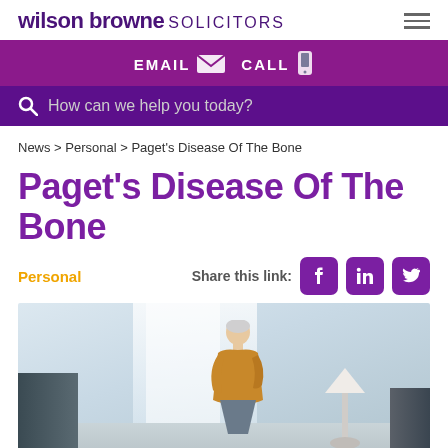wilson browne SOLICITORS
EMAIL  CALL
How can we help you today?
News > Personal > Paget's Disease Of The Bone
Paget's Disease Of The Bone
Personal
Share this link:
[Figure (photo): Elderly person standing indoors, viewed from behind, in a room with white curtains and a lamp.]